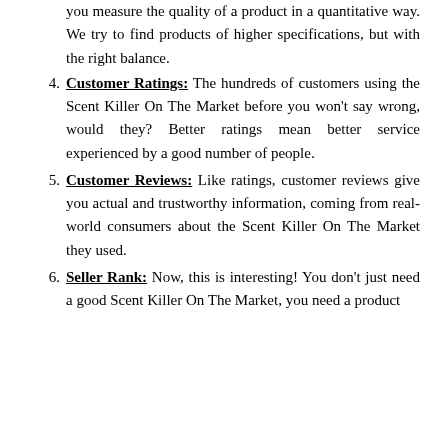(continuation) you measure the quality of a product in a quantitative way. We try to find products of higher specifications, but with the right balance.
4. Customer Ratings: The hundreds of customers using the Scent Killer On The Market before you won't say wrong, would they? Better ratings mean better service experienced by a good number of people.
5. Customer Reviews: Like ratings, customer reviews give you actual and trustworthy information, coming from real-world consumers about the Scent Killer On The Market they used.
6. Seller Rank: Now, this is interesting! You don't just need a good Scent Killer On The Market, you need a product